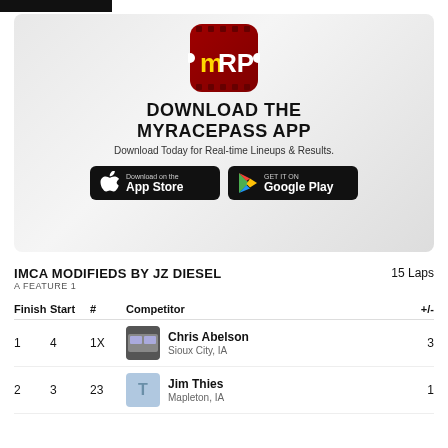[Figure (logo): MyRacePass (MRP) app logo and promotional banner with App Store and Google Play download buttons]
IMCA MODIFIEDS BY JZ DIESEL  15 Laps
A FEATURE 1
| Finish | Start | # | Competitor | +/- |
| --- | --- | --- | --- | --- |
| 1 | 4 | 1X | Chris Abelson
Sioux City, IA | 3 |
| 2 | 3 | 23 | Jim Thies
Mapleton, IA | 1 |